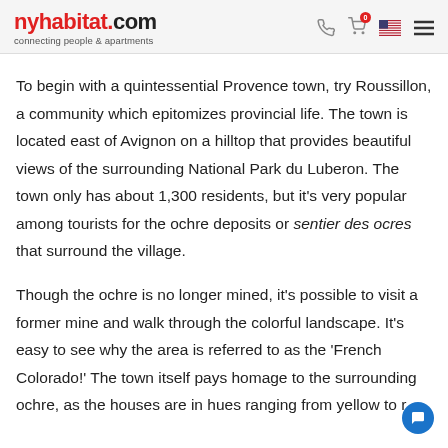nyhabitat.com – connecting people & apartments
To begin with a quintessential Provence town, try Roussillon, a community which epitomizes provincial life. The town is located east of Avignon on a hilltop that provides beautiful views of the surrounding National Park du Luberon. The town only has about 1,300 residents, but it's very popular among tourists for the ochre deposits or sentier des ocres that surround the village.
Though the ochre is no longer mined, it's possible to visit a former mine and walk through the colorful landscape. It's easy to see why the area is referred to as the 'French Colorado!' The town itself pays homage to the surrounding ochre, as the houses are in hues ranging from yellow to r…